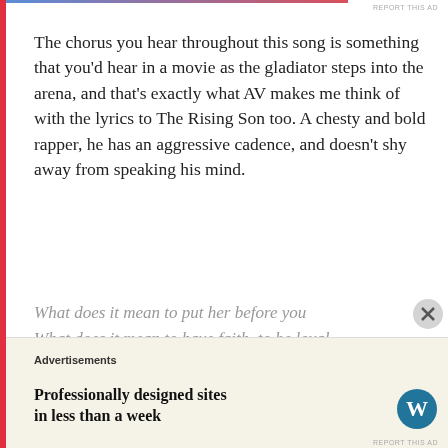The chorus you hear throughout this song is something that you'd hear in a movie as the gladiator steps into the arena, and that's exactly what AV makes me think of with the lyrics to The Rising Son too. A chesty and bold rapper, he has an aggressive cadence, and doesn't shy away from speaking his mind.
What does it mean to put her before you
What does it mean to have faith, to be loyal
What does it mean
to rise up for your queen
Rise up for the teens, lying dead in the streets
Politicians giving in to they greed
Make a speech for a fee worth retiring
Advertisements
Professionally designed sites in less than a week